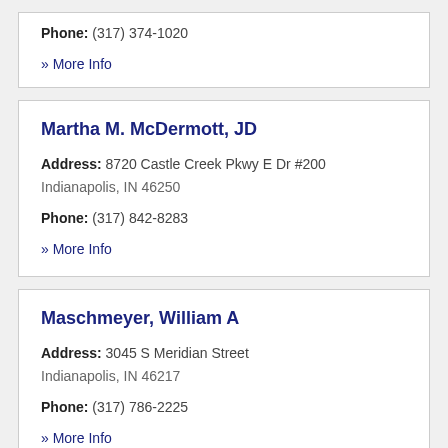Phone: (317) 374-1020
» More Info
Martha M. McDermott, JD
Address: 8720 Castle Creek Pkwy E Dr #200 Indianapolis, IN 46250
Phone: (317) 842-8283
» More Info
Maschmeyer, William A
Address: 3045 S Meridian Street Indianapolis, IN 46217
Phone: (317) 786-2225
» More Info